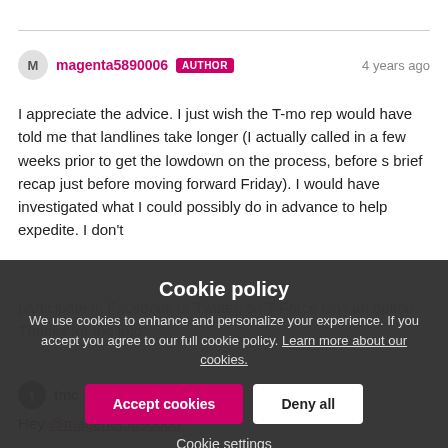magenta5890006 AUTHOR 4 years ago
I appreciate the advice. I just wish the T-mo rep would have told me that landlines take longer (I actually called in a few weeks prior to get the lowdown on the process, before s brief recap just before moving forward Friday). I would have investigated what I could possibly do in advance to help expedite. I don't participate in Facebook or Twitter, so T-Force isn't an option. Thanks for the info.
Cookie policy
We use cookies to enhance and personalize your experience. If you accept you agree to our full cookie policy. Learn more about our cookies.
Accept cookies | Deny all
Cookie settings
tmc_chris
Hey @magenta5890006